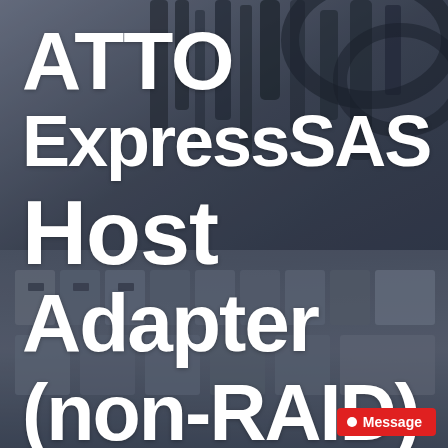[Figure (photo): Black and white / dark blue-gray photograph of a server equipment panel with cables/wires visible in the upper portion and circuit breakers/electrical components in the lower portion, serving as a cover page background.]
ATTO ExpressSAS Host Adapter (non-RAID)
Message